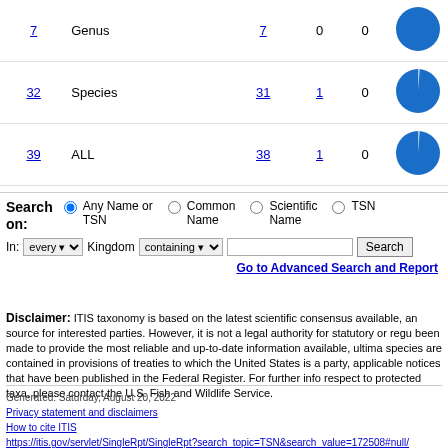| Count | Type | Link | Link2 | 0 | Chart |
| --- | --- | --- | --- | --- | --- |
| 7 | Genus | 7 | 0 | 0 | pie |
| 32 | Species | 31 | 1 | 0 | pie |
| 39 | ALL | 38 | 1 | 0 | pie |
Search on: Any Name or TSN (selected), Common Name, Scientific Name, TSN
In: every Kingdom containing [input] Search
Go to Advanced Search and Report
Disclaimer: ITIS taxonomy is based on the latest scientific consensus available, and is intended as a reference source for interested parties. However, it is not a legal authority for statutory or regulatory purposes. While every effort has been made to provide the most reliable and up-to-date information available, ultimate determination of the legal status of any species are contained in provisions of treaties to which the United States is a party, or federal legislation enacted to implement such treaties, applicable notices that have been published in the Federal Register. For further information on legal recognition of species with respect to protected taxa, please contact the U.S. Fish and Wildlife Service.
Generated: Saturday, August 20, 2022
Privacy statement and disclaimers
How to cite ITIS
https://itis.gov/servlet/SingleRpt/SingleRpt?search_topic=TSN&search_value=172508#null/